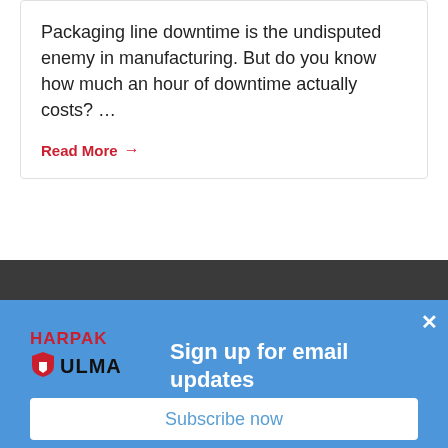Packaging line downtime is the undisputed enemy in manufacturing. But do you know how much an hour of downtime actually costs? …
Read More →
[Figure (screenshot): Dark grey navigation/search bar section of website]
[Figure (screenshot): Blue popup overlay with Harpak-ULMA logo, 'Sign up for email updates' heading, close button, and Subscribe now button]